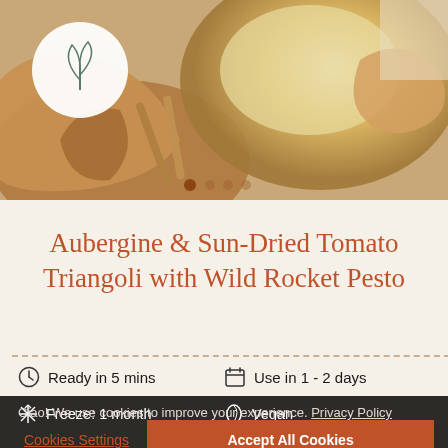[Figure (photo): Hero food photograph showing a dish with pasta/triangoli, wooden spoons, brown cloth/napkin, circular plate. White circular logo with leaf/plant icon in top-left corner. Carousel dots visible at bottom of image.]
Aubergine & Sun-Dried Tomato Triangoli with Wild Rocket Pesto
Ready in 5 mins
Use in 1 - 2 days
Freeze: 1 month
Vegan
Ciao! We use cookies to improve your experience. Privacy Policy
Cookies Settings
Accept All Cookies